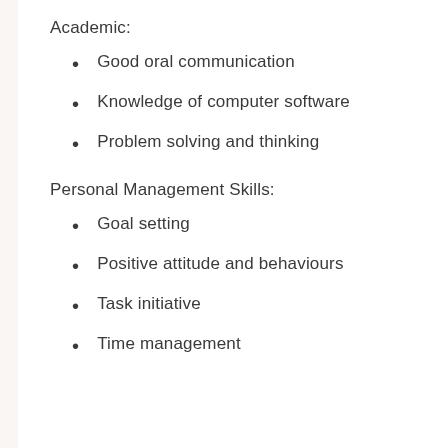Academic:
Good oral communication
Knowledge of computer software
Problem solving and thinking
Personal Management Skills:
Goal setting
Positive attitude and behaviours
Task initiative
Time management